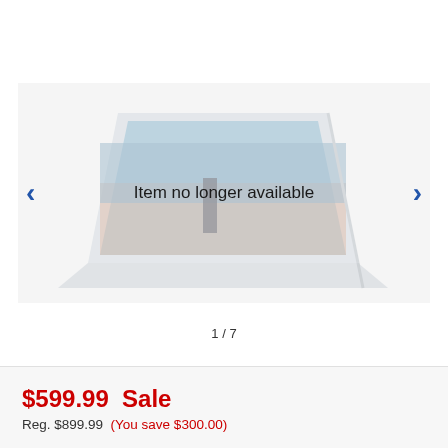[Figure (photo): Laptop computer shown in tent/display mode with a cityscape wallpaper on screen, overlaid with 'Item no longer available' text. Navigation arrows on left and right sides.]
1 / 7
$599.99  Sale
Reg. $899.99  (You save $300.00)